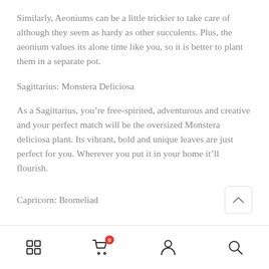Similarly, Aeoniums can be a little trickier to take care of although they seem as hardy as other succulents. Plus, the aeonium values its alone time like you, so it is better to plant them in a separate pot.
Sagittarius: Monstera Deliciosa
As a Sagittarius, you’re free-spirited, adventurous and creative and your perfect match will be the oversized Monstera deliciosa plant. Its vibrant, bold and unique leaves are just perfect for you. Wherever you put it in your home it’ll flourish.
Capricorn: Bromeliad
[Figure (other): Bottom navigation bar with grid/menu icon, shopping cart icon with badge showing 0, person/account icon, and search/magnifying glass icon]